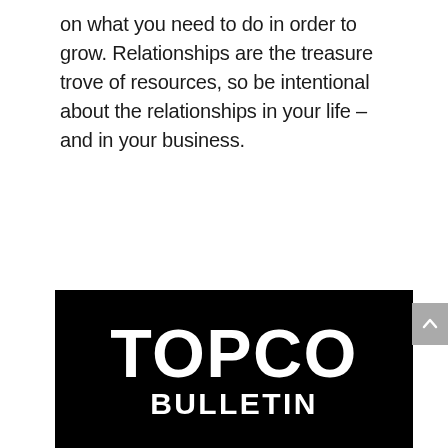on what you need to do in order to grow. Relationships are the treasure trove of resources, so be intentional about the relationships in your life – and in your business.
[Figure (logo): Topco Bulletin logo — white text 'TOPCO' and 'BULLETIN' on a black rectangular background]